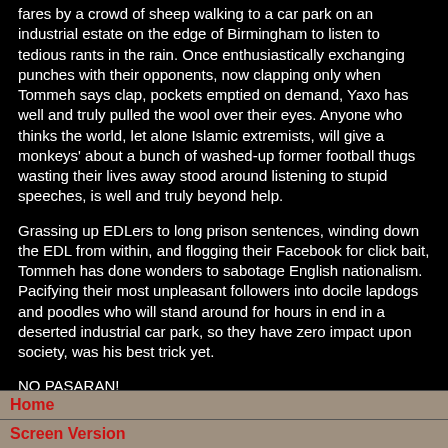fares by a crowd of sheep walking to a car park on an industrial estate on the edge of Birmingham to listen to tedious rants in the rain. Once enthusiastically exchanging punches with their opponents, now clapping only when Tommeh says clap, pockets emptied on demand, Yaxo has well and truly pulled the wool over their eyes. Anyone who thinks the world, let alone Islamic extremists, will give a monkeys' about a bunch of washed-up former football thugs wasting their lives away stood around listening to stupid speeches, is well and truly beyond help.
Grassing up EDLers to long prison sentences, winding down the EDL from within, and flogging their Facebook for click bait, Tommeh has done wonders to sabotage English nationalism. Pacifying their most unpleasant followers into docile lapdogs and poodles who will stand around for hours in end in a deserted industrial car park, so they have zero impact upon society, was his best trick yet.
NO PASARAN!
ANTIFA
Home
Screen Version